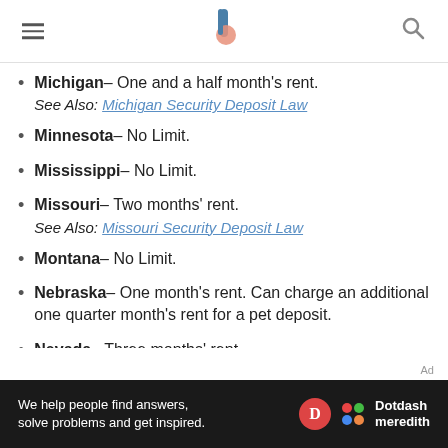Michigan- One and a half month's rent. See Also: Michigan Security Deposit Law
Minnesota- No Limit.
Mississippi- No Limit.
Missouri- Two months' rent. See Also: Missouri Security Deposit Law
Montana- No Limit.
Nebraska- One month's rent. Can charge an additional one quarter month's rent for a pet deposit.
Nevada- Three months' rent.
[Figure (other): Dotdash Meredith advertisement banner: 'We help people find answers, solve problems and get inspired.']